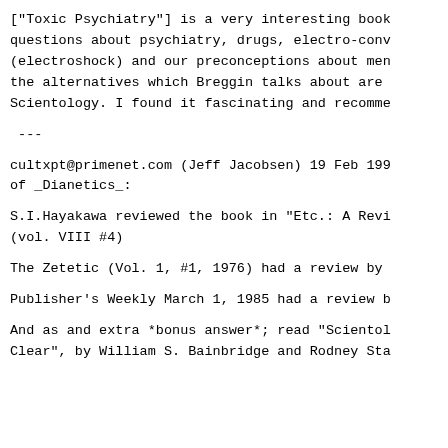["Toxic Psychiatry"] is a very interesting book questions about psychiatry, drugs, electro-conv (electroshock) and our preconceptions about men the alternatives which Breggin talks about are Scientology. I found it fascinating and recomme
---
cultxpt@primenet.com (Jeff Jacobsen) 19 Feb 199 of _Dianetics_:
S.I.Hayakawa reviewed the book in "Etc.: A Revi (vol. VIII #4)
The Zetetic (Vol. 1, #1, 1976) had a review by
Publisher's Weekly March 1, 1985 had a review b
And as and extra *bonus answer*; read "Scientol Clear", by William S. Bainbridge and Rodney Sta